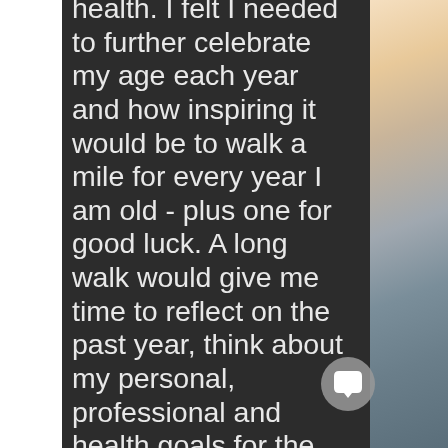health. I felt I needed to further celebrate my age each year and how inspiring it would be to walk a mile for every year I am old - plus one for good luck. A long walk would give me time to reflect on the past year, think about my personal, professional and health goals for the upcoming year while at the same time giving me a goal to work toward over the next 50-60 years.
[Figure (illustration): Chat bubble / message icon — circular grey button with speech bubble icon inside, positioned in lower right area of the dark text panel]